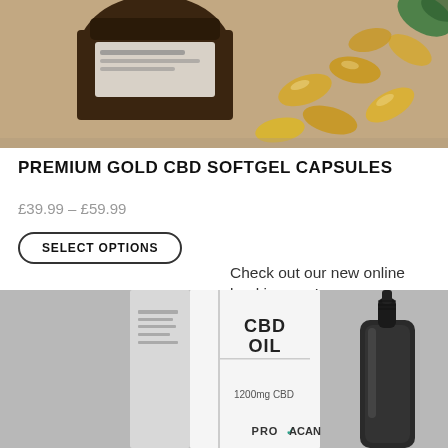[Figure (photo): Product photo showing a brown glass jar of CBD softgel capsules with several gold gel capsules scattered around it on a tan/brown background, with a green leaf in the corner.]
PREMIUM GOLD CBD SOFTGEL CAPSULES
£39.99 – £59.99
SELECT OPTIONS
Check out our new online booking app!
[Figure (photo): Product photo showing CBD Oil box packaging labelled '1200mg CBD' with Provacan branding, alongside a dark glass dropper bottle of CBD oil, on a grey background.]